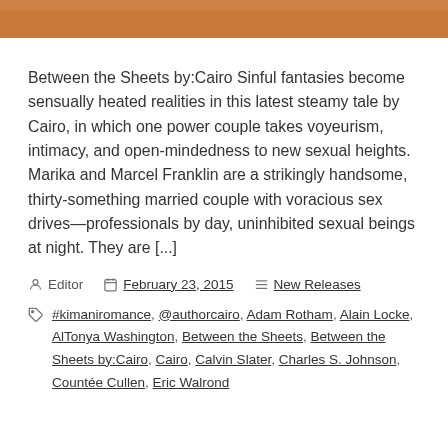[Figure (photo): Cropped top portion of a book cover or decorative image showing warm orange/brown tones, partially visible at the top of the page.]
Between the Sheets by:Cairo Sinful fantasies become sensually heated realities in this latest steamy tale by Cairo, in which one power couple takes voyeurism, intimacy, and open-mindedness to new sexual heights. Marika and Marcel Franklin are a strikingly handsome, thirty-something married couple with voracious sex drives—professionals by day, uninhibited sexual beings at night. They are [...]
Editor   February 23, 2015   New Releases
#kimaniromance, @authorcairo, Adam Rotham, Alain Locke, AlTonya Washington, Between the Sheets, Between the Sheets by:Cairo, Cairo, Calvin Slater, Charles S. Johnson, Countée Cullen, Eric Walrond